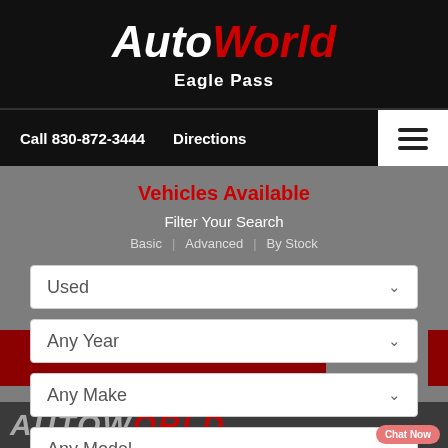[Figure (logo): AutoWorld Eagle Pass dealer logo on black background, with 'Auto' in white italic bold and 'World' in red italic bold, and 'Eagle Pass' in white below]
Call 830-872-3444   Directions
Vehicles Available
Filter Your Search
Basic | Advanced | By Stock
Used
Any Year
Any Make
Any Model